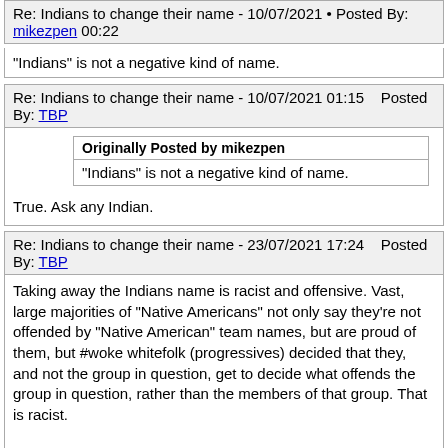Re: Indians to change their name - 10/07/2021 • Posted By: mikezpen 00:22
"Indians" is not a negative kind of name.
Re: Indians to change their name - 10/07/2021 01:15   Posted By: TBP
Originally Posted by mikezpen
"Indians" is not a negative kind of name.
True. Ask any Indian.
Re: Indians to change their name - 23/07/2021 17:24   Posted By: TBP
Taking away the Indians name is racist and offensive. Vast, large majorities of "Native Americans" not only say they're not offended by "Native American" team names, but are proud of them, but #woke whitefolk (progressives) decided that they, and not the group in question, get to decide what offends the group in question, rather than the members of that group. That is racist.

I guess the affected minority not being offended interferes with the #progressives #VirtueSignalling and their superiority complex. #Totalitarians don't like it when you stand up to them, whether the be Cuban, Haitians, Chinese...or white progressive...